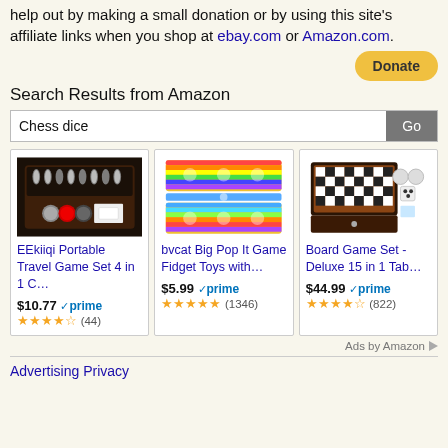help out by making a small donation or by using this site's affiliate links when you shop at ebay.com or Amazon.com.
[Figure (other): PayPal Donate button]
Search Results from Amazon
Chess dice [search input] Go
[Figure (other): EEkiiqi Portable Travel Game Set 4 in 1 C... product image - chess set in wooden box]
EEkiiqi Portable Travel Game Set 4 in 1 C...
$10.77 prime (44) 3.5 stars
[Figure (other): bvcat Big Pop It Game Fidget Toys with... product image - colorful pop-it toy]
bvcat Big Pop It Game Fidget Toys with...
$5.99 prime (1346) 5 stars
[Figure (other): Board Game Set - Deluxe 15 in 1 Tab... product image - chess/game set with drawer]
Board Game Set - Deluxe 15 in 1 Tab...
$44.99 prime (822) 4.5 stars
Ads by Amazon
Advertising Privacy